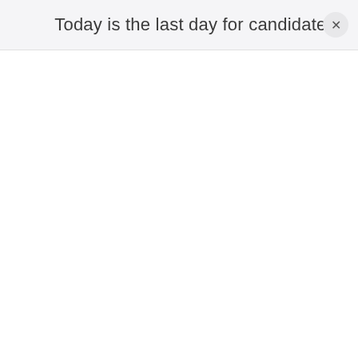Today is the last day for candidates